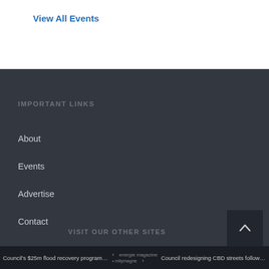View All Events
IMPORTANT LINKS
About
Events
Advertise
Contact
VISIT OUR OTHER SITES
Council's $25m flood recovery program g... < > Council redesigning CBD streets followin...